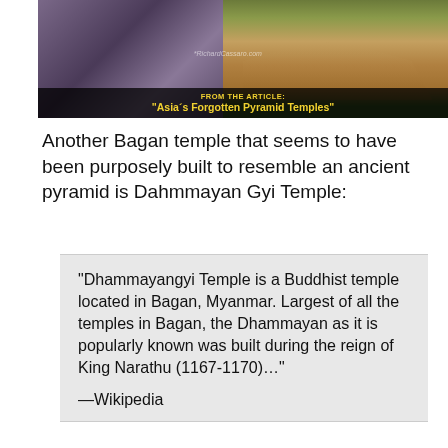[Figure (photo): Composite image showing a satellite/aerial map view on the left and a photograph of an ancient temple (Bagan, Myanmar) on the right. Overlay text reads 'FROM THE ARTICLE:' and '"Asia's Forgotten Pyramid Temples"' in yellow on a dark banner at the bottom. A watermark reads 'RichardCassaro.com'.]
Another Bagan temple that seems to have been purposely built to resemble an ancient pyramid is Dahmmayan Gyi Temple:
“Dhammayangyi Temple is a Buddhist temple located in Bagan, Myanmar. Largest of all the temples in Bagan, the Dhammayan as it is popularly known was built during the reign of King Narathu (1167-1170)…"

—Wikipedia